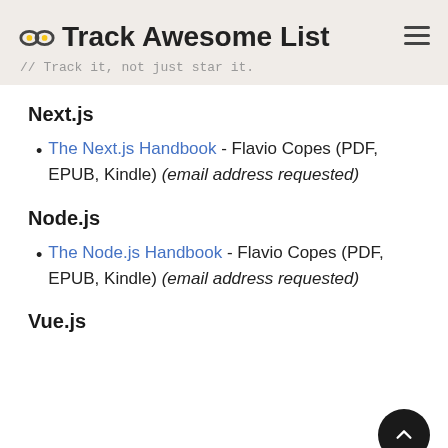Track Awesome List // Track it, not just star it.
Next.js
The Next.js Handbook - Flavio Copes (PDF, EPUB, Kindle) (email address requested)
Node.js
The Node.js Handbook - Flavio Copes (PDF, EPUB, Kindle) (email address requested)
Vue.js